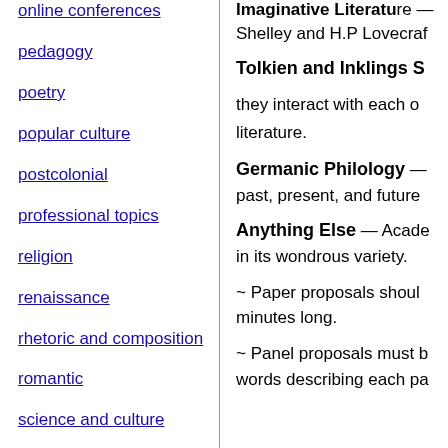online conferences
pedagogy
poetry
popular culture
postcolonial
professional topics
religion
renaissance
rhetoric and composition
romantic
science and culture
theatre
theory
translation studies
Imaginative Literature... Shelley and H.P Lovecraf...
Tolkien and Inklings S
they interact with each o... literature.
Germanic Philology —
past, present, and future...
Anything Else
— Acade... in its wondrous variety.
~ Paper proposals shoul... minutes long.
~ Panel proposals must b... words describing each pa...